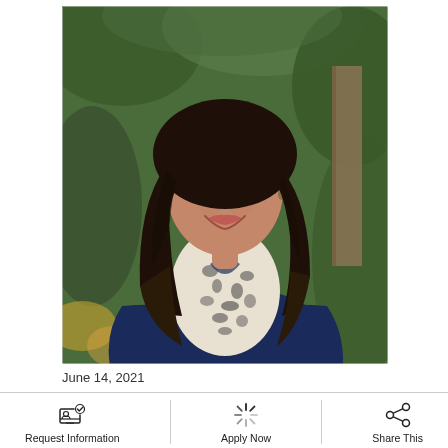[Figure (photo): Professional headshot of a middle-aged woman with dark shoulder-length hair, wearing a navy blazer and animal-print scarf, posed outdoors in front of green foliage.]
June 14, 2021
Request Information
Apply Now
Share This